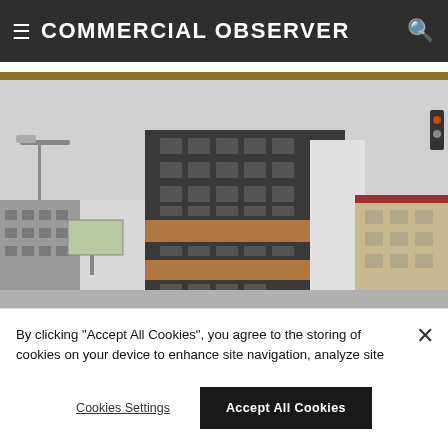COMMERCIAL OBSERVER
[Figure (photo): Exterior photograph of a modern multi-story mixed-use building with dark cladding and wood-tone accents, set against an overcast sky, with neighboring older brick buildings visible on both sides and street-level view from below.]
By clicking "Accept All Cookies", you agree to the storing of cookies on your device to enhance site navigation, analyze site usage, and assist in our marketing efforts.
Cookies Settings
Accept All Cookies